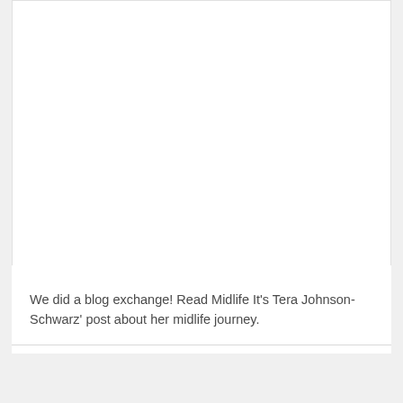We did a blog exchange! Read Midlife It's Tera Johnson-Schwarz' post about her midlife journey.
≡ Category: Author: Guest, Blog, Connectons, Kinship, Uncategorized  Tags: Fabulous Boomer Sisters, Guest Author, Menopause, MidLIfe It, MidLIfe Journey